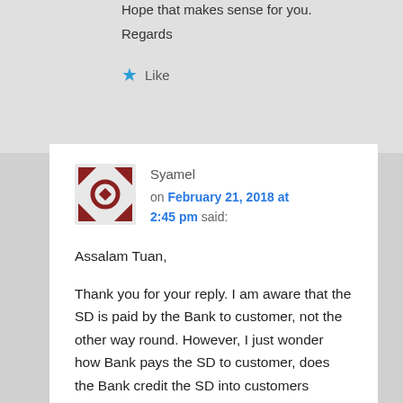Hope that makes sense for you.
Regards
★ Like
Syamel
on February 21, 2018 at 2:45 pm said:
Assalam Tuan,

Thank you for your reply. I am aware that the SD is paid by the Bank to customer, not the other way round. However, I just wonder how Bank pays the SD to customer, does the Bank credit the SD into customers account? and will the customer know the amount